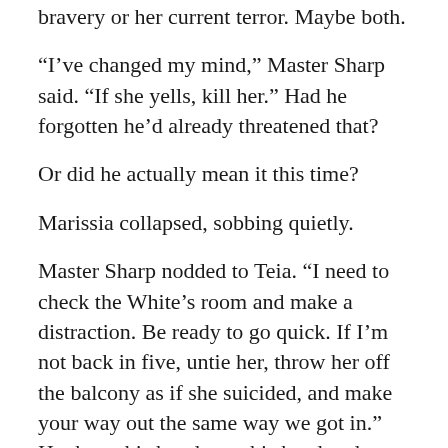bravery or her current terror. Maybe both.
“I’ve changed my mind,” Master Sharp said. “If she yells, kill her.” Had he forgotten he’d already threatened that?
Or did he actually mean it this time?
Marissia collapsed, sobbing quietly.
Master Sharp nodded to Teia. “I need to check the White’s room and make a distraction. Be ready to go quick. If I’m not back in five, untie her, throw her off the balcony as if she suicided, and make your way out the same way we got in.” He threw his hood over his head and pulled the laces through the grommets quickly, cinching the mask tight over his nose and mouth, leaving only his eyes clear, and those